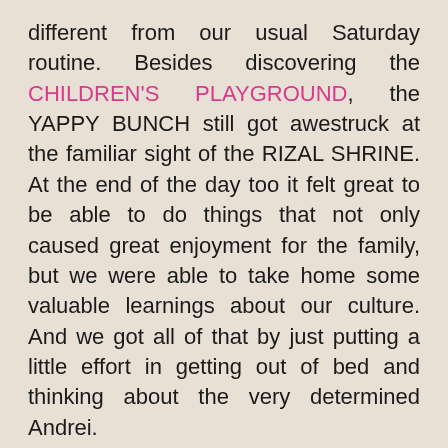different from our usual Saturday routine. Besides discovering the CHILDREN'S PLAYGROUND, the YAPPY BUNCH still got awestruck at the familiar sight of the RIZAL SHRINE. At the end of the day too it felt great to be able to do things that not only caused great enjoyment for the family, but we were able to take home some valuable learnings about our culture. And we got all of that by just putting a little effort in getting out of bed and thinking about the very determined Andrei.
MABUHAY!!!!!!!!!!!!!!!!